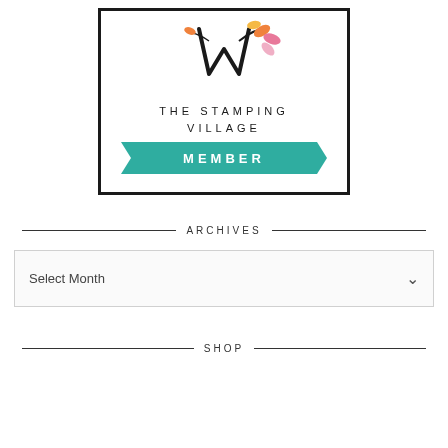[Figure (logo): The Stamping Village Member logo — a stylized V with colorful leaves, text 'THE STAMPING VILLAGE' and a teal banner with 'MEMBER' in white letters, all inside a black rectangle border.]
ARCHIVES
Select Month
SHOP